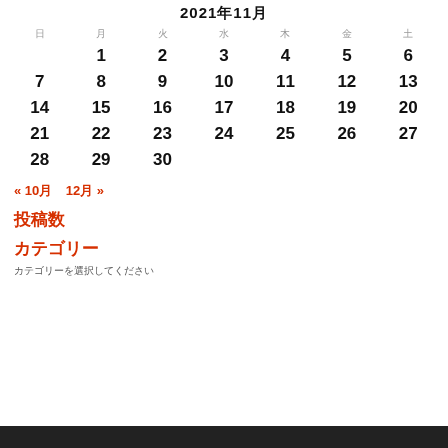2021年11月
| 日 | 月 | 火 | 水 | 木 | 金 | 土 |
| --- | --- | --- | --- | --- | --- | --- |
|  | 1 | 2 | 3 | 4 | 5 | 6 |
| 7 | 8 | 9 | 10 | 11 | 12 | 13 |
| 14 | 15 | 16 | 17 | 18 | 19 | 20 |
| 21 | 22 | 23 | 24 | 25 | 26 | 27 |
| 28 | 29 | 30 |  |  |  |  |
« 10月   12月 »
投稿数
カテゴリー
カテゴリーを選択してください